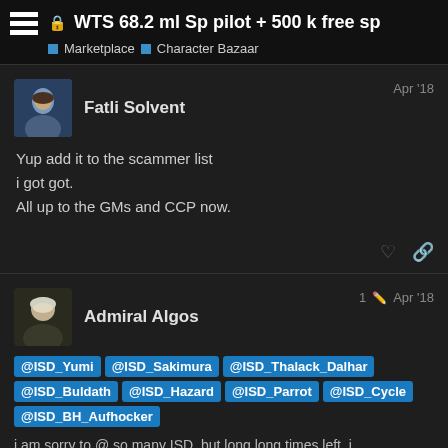WTS 68.2 ml Sp pilot + 500 k free sp | Marketplace > Character Bazaar
Fatli Solvent
Apr '18

Yup add it to the scammer list
i got got.
All up to the GMs and CCP now.
Admiral Algos
1 Apr '18

@ISD_Yumi @ISD_Sakimura @ISD_Thalack_Dalhar @ISD_Buldath @ISD_Hazard @ISD_Parrot @ISD_Cycle @ISD_BH_Aufhocker

i am sorry to @ so many ISD, but long long times left, i